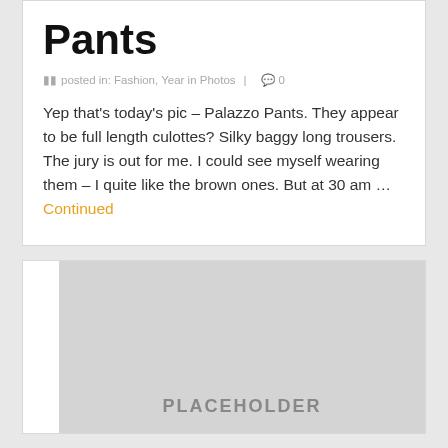Pants
posted in: Fashion, Year in Photos | 0
Yep that's today's pic – Palazzo Pants. They appear to be full length culottes? Silky baggy long trousers. The jury is out for me. I could see myself wearing them – I quite like the brown ones. But at 30 am ... Continued
[Figure (photo): Placeholder image area with grey background, partial view of a second blog post card]